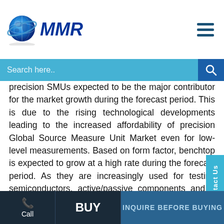[Figure (logo): MMR (Maximize Market Research) logo with blue globe and MMR text in dark blue italic]
precision SMUs expected to be the major contributor for the market growth during the forecast period. This is due to the rising technological developments leading to the increased affordability of precision Global Source Measure Unit Market even for low-level measurements. Based on form factor, benchtop is expected to grow at a high rate during the forecast period. As they are increasingly used for testing semiconductors, active/passive components and a variety of other devices and materials. Based on application semiconductor devices is expected to hold largest shares of the market during the forecast period. As source measure units are widely used for semiconductor devices for testing purpose because of their ease of programming, flexibility in the expansion and wide coverage of sourcing and
Call | BUY | INQUIRE BEFORE BUYING